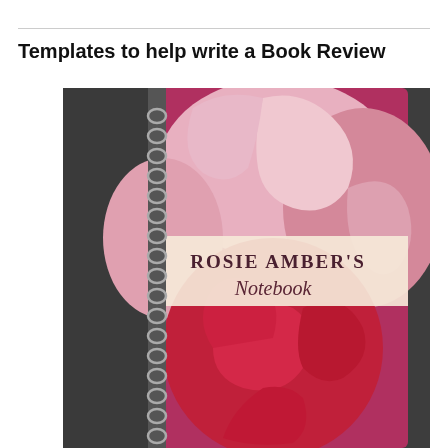Templates to help write a Book Review
[Figure (photo): A spiral-bound notebook with a close-up pink rose on the cover, labeled 'ROSIE AMBER'S Notebook' in a banner across the middle, photographed on a dark grey textured background.]